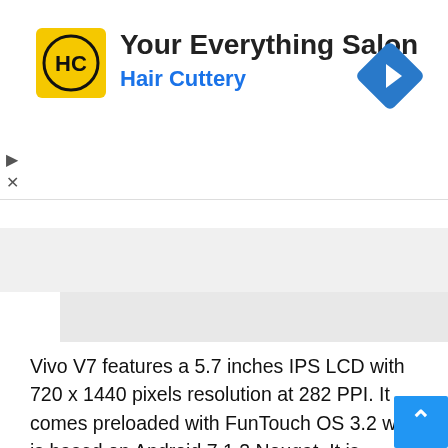[Figure (screenshot): Advertisement banner for 'Your Everything Salon – Hair Cuttery' with HC logo on yellow background and blue navigation diamond icon on the right]
[Figure (screenshot): Check on Amazon button area with a caret/collapse button on the left and red 'Check on Amazon' text on the right panel]
Vivo V7 features a 5.7 inches IPS LCD with 720 x 1440 pixels resolution at 282 PPI. It comes preloaded with FunTouch OS 3.2 which is based on Android 7.1.2 Nougat. It is equipped with Qualcomm Snapdragon 450 SoC coupled with 4 GB of RAM. It has 32 I try, which is expandable up for storage, to 256 GB using the dedicated card slot.
It packs 16 MP ca on the rear side and a 24 MP camera on the front side. No doubt, Vivo phones pack decent good quality camera tuned to capture the best out of them. But considering the market